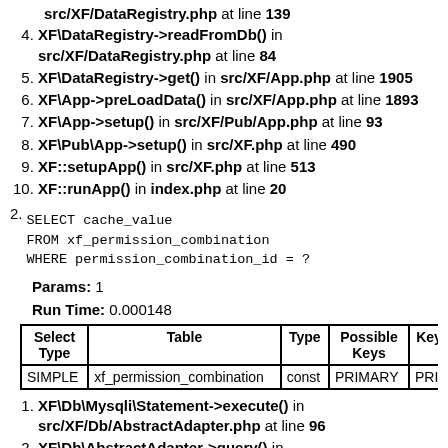3. XF\DataRegistry->save() in src/XF/DataRegistry.php at line 139
4. XF\DataRegistry->readFromDb() in src/XF/DataRegistry.php at line 84
5. XF\DataRegistry->get() in src/XF/App.php at line 1905
6. XF\App->preLoadData() in src/XF/App.php at line 1893
7. XF\App->setup() in src/XF/Pub/App.php at line 93
8. XF\Pub\App->setup() in src/XF.php at line 490
9. XF::setupApp() in src/XF.php at line 513
10. XF::runApp() in index.php at line 20
2. SELECT cache_value
   FROM xf_permission_combination
   WHERE permission_combination_id = ?
Params: 1
Run Time: 0.000148
| Select Type | Table | Type | Possible Keys | Key |
| --- | --- | --- | --- | --- |
| SIMPLE | xf_permission_combination | const | PRIMARY | PRI |
1. XF\Db\Mysqli\Statement->execute() in src/XF/Db/AbstractAdapter.php at line 96
2. XF\Db\AbstractAdapter->query() in